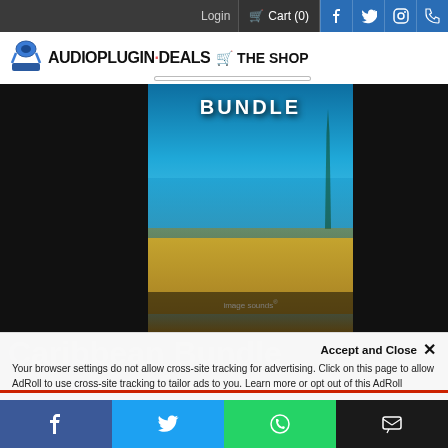Login  Cart (0)  [Facebook] [Twitter] [Instagram] [YouTube]
[Figure (logo): AudioPlugin.Deals THE SHOP logo with shopping cart icon]
[Figure (photo): Product bundle image showing Caribbean Bundle by Image Sounds with tropical beach background]
Accept and Close ✕
Your browser settings do not allow cross-site tracking for advertising. Click on this page to allow AdRoll to use cross-site tracking to tailor ads to you. Learn more or opt out of this AdRoll tracking by clicking here. This message only appears once.
Our Back to School mega event is on! Use code APD-BACK2SCHOOL22 at checkout to get 15% off ...
[Figure (infographic): Social share bottom bar with Facebook, Twitter, WhatsApp, and SMS icons]